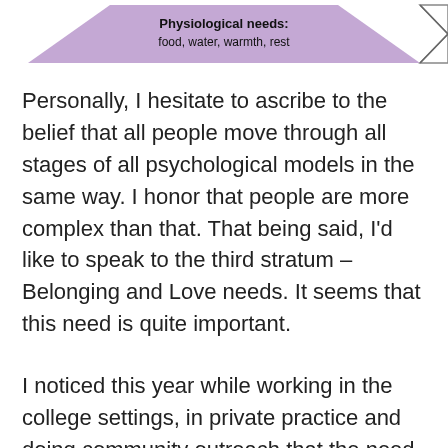[Figure (illustration): Bottom portion of Maslow's hierarchy of needs diagram showing the base level labeled 'Physiological needs: food, water, warmth, rest' in a purple/lavender trapezoid shape with a chevron arrow on the right.]
Personally, I hesitate to ascribe to the belief that all people move through all stages of all psychological models in the same way. I honor that people are more complex than that. That being said, I'd like to speak to the third stratum – Belonging and Love needs. It seems that this need is quite important.
I noticed this year while working in the college settings, in private practice and doing community outreach that the need